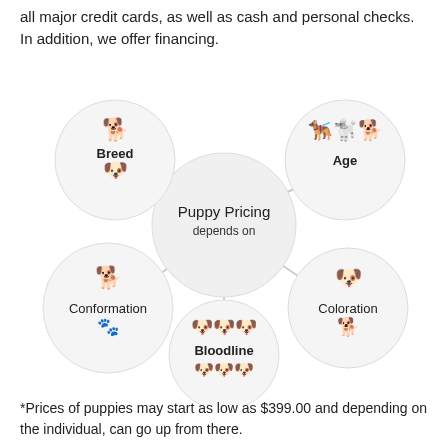all major credit cards, as well as cash and personal checks. In addition, we offer financing.
[Figure (infographic): Bubble diagram showing 'Puppy Pricing depends on' in the center, connected to five surrounding bubbles: Breed (top-left, with dog breed icons), Age (top-right, with dog icons), Conformation (bottom-left, with dog icon), Coloration (bottom-right, with dog icons), and Bloodline (bottom-center, with puppy icons).]
*Prices of puppies may start as low as $399.00 and depending on the individual, can go up from there.